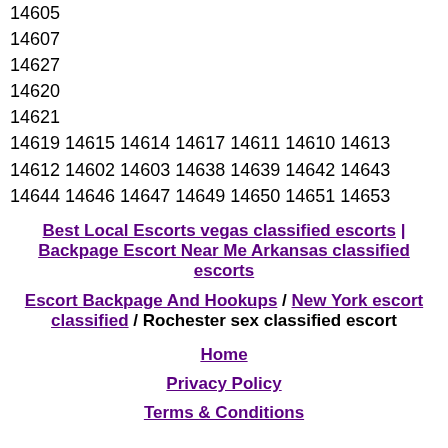14605
14607
14627
14620
14621
14619 14615 14614 14617 14611 14610 14613
14612 14602 14603 14638 14639 14642 14643
14644 14646 14647 14649 14650 14651 14653
Best Local Escorts vegas classified escorts | Backpage Escort Near Me Arkansas classified escorts
Escort Backpage And Hookups / New York escort classified / Rochester sex classified escort
Home
Privacy Policy
Terms & Conditions